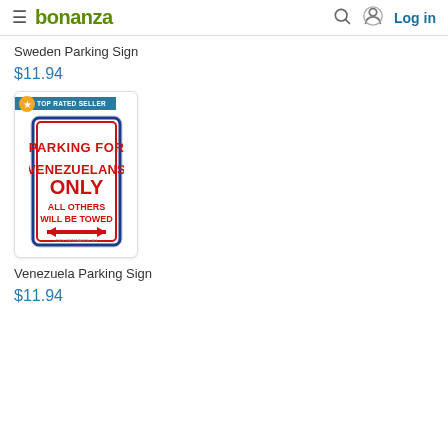bonanza | Log in
Sweden Parking Sign
$11.94
[Figure (photo): Product image of a parking sign reading 'PARKING FOR VENEZUELANS ONLY ALL OTHERS WILL BE TOWED' with a red double-headed arrow, blue and red border. A 'TOP RATED SELLER' badge is overlaid on the top-left corner.]
Venezuela Parking Sign
$11.94